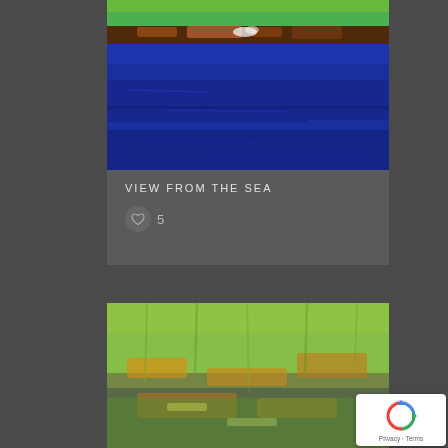[Figure (photo): Painting titled 'View From the Sea' - abstract seascape with deep blue water and horizon with green and brown earthy tones at the top]
VIEW FROM THE SEA
♡ 5
[Figure (photo): Abstract green landscape painting with textured surface, yellow-green tones with orange accents]
[Figure (other): Google reCAPTCHA badge with Privacy and Terms links]